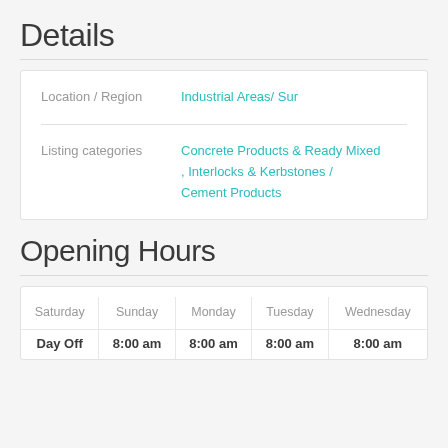Details
| Field | Value |
| --- | --- |
| Location / Region | Industrial Areas/ Sur |
| Listing categories | Concrete Products & Ready Mixed , Interlocks & Kerbstones / Cement Products |
Opening Hours
| Saturday | Sunday | Monday | Tuesday | Wednesday |
| --- | --- | --- | --- | --- |
| Day Off | 8:00 am | 8:00 am | 8:00 am | 8:00 am |